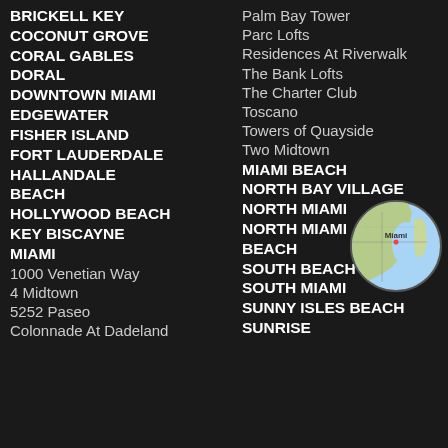BRICKELL KEY
COCONUT GROVE
CORAL GABLES
DORAL
DOWNTOWN MIAMI
EDGEWATER
FISHER ISLAND
FORT LAUDERDALE
HALLANDALE BEACH
HOLLYWOOD BEACH
KEY BISCAYNE
MIAMI
1000 Venetian Way
4 Midtown
5252 Paseo
Colonnade At Dadeland
Palm Bay Tower
Parc Lofts
Residences At Riverwalk
The Bank Lofts
The Charter Club
Toscano
Towers of Quayside
Two Midtown
MIAMI BEACH
NORTH BAY VILLAGE
NORTH MIAMI
NORTH MIAMI BEACH
SOUTH BEACH
SOUTH MIAMI
SUNNY ISLES BEACH
SUNRISE
[Figure (map): Circular map thumbnail showing Miami area]